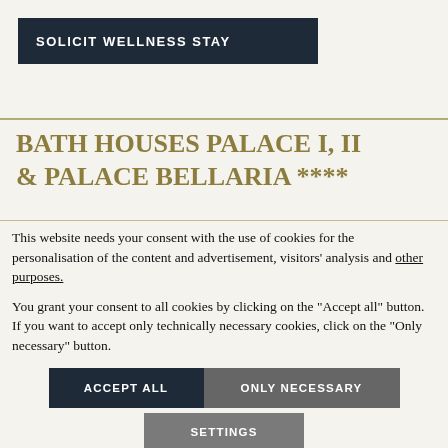SOLICIT WELLNESS STAY
BATH HOUSES PALACE I, II & PALACE BELLARIA ****
This website needs your consent with the use of cookies for the personalisation of the content and advertisement, visitors' analysis and other purposes.
You grant your consent to all cookies by clicking on the "Accept all" button. If you want to accept only technically necessary cookies, click on the "Only necessary" button.
ACCEPT ALL
ONLY NECESSARY
SETTINGS